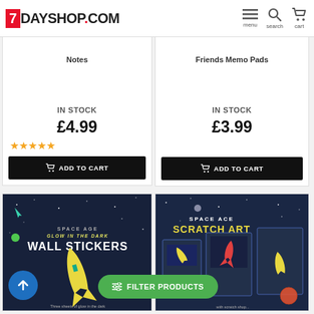7DAYSHOP.COM
Notes
IN STOCK
£4.99
ADD TO CART
Friends Memo Pads
IN STOCK
£3.99
ADD TO CART
[Figure (photo): Space Age Glow In The Dark Wall Stickers product packaging — dark blue background with yellow rocket illustration]
[Figure (photo): Space Age Scratch Art product packaging — dark blue background with space rockets and scratch art sheets]
FILTER PRODUCTS